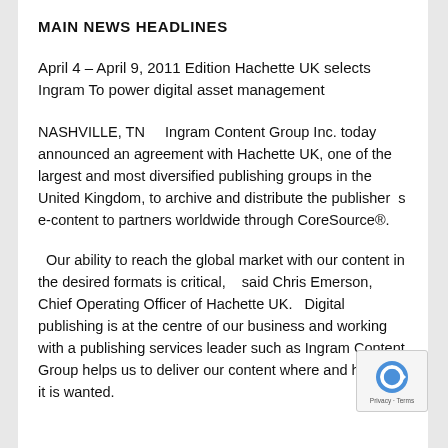MAIN NEWS HEADLINES
April 4 – April 9, 2011 Edition Hachette UK selects Ingram To power digital asset management
NASHVILLE, TN    Ingram Content Group Inc. today announced an agreement with Hachette UK, one of the largest and most diversified publishing groups in the United Kingdom, to archive and distribute the publisher s e-content to partners worldwide through CoreSource®.
Our ability to reach the global market with our content in the desired formats is critical,   said Chris Emerson, Chief Operating Officer of Hachette UK.   Digital publishing is at the centre of our business and working with a publishing services leader such as Ingram Content Group helps us to deliver our content where and however it is wanted.